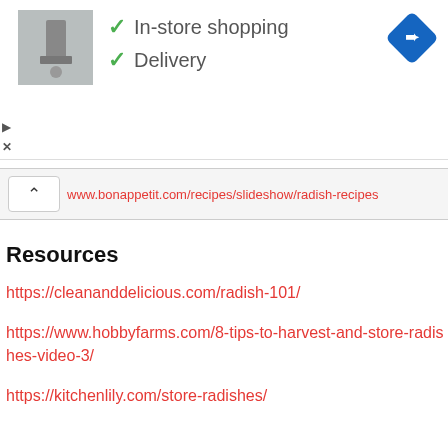[Figure (screenshot): Ad widget showing a grayscale thumbnail image of a product, checkmarks for 'In-store shopping' and 'Delivery', a blue diamond navigation icon in the top right, and small play/close icons on the left.]
www.bonappetit.com/recipes/slideshow/radish-recipes
Resources
https://cleananddelicious.com/radish-101/
https://www.hobbyfarms.com/8-tips-to-harvest-and-store-radishes-video-3/
https://kitchenlily.com/store-radishes/